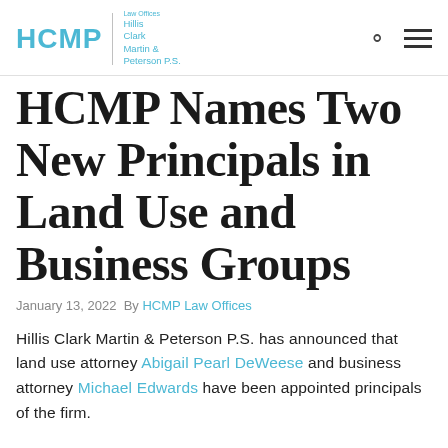HCMP | Hillis Clark Martin & Peterson P.S.
HCMP Names Two New Principals in Land Use and Business Groups
January 13, 2022  By HCMP Law Offices
Hillis Clark Martin & Peterson P.S. has announced that land use attorney Abigail Pearl DeWeese and business attorney Michael Edwards have been appointed principals of the firm.